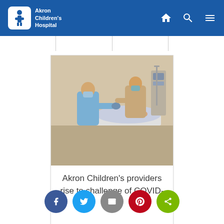Akron Children's Hospital
[Figure (photo): Two healthcare providers in masks and scrubs working over a patient lying in a hospital bed in a clinical setting.]
Akron Children's providers rise to challenge of COVID-19